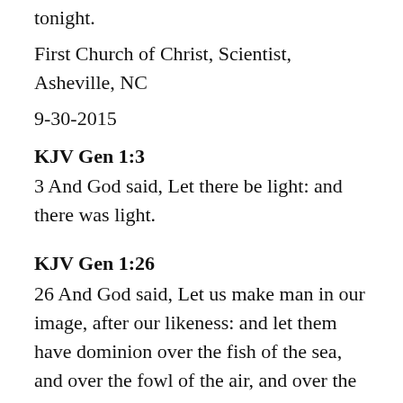tonight.
First Church of Christ, Scientist, Asheville, NC
9-30-2015
KJV Gen 1:3
3 And God said, Let there be light: and there was light.
KJV Gen 1:26
26 And God said, Let us make man in our image, after our likeness: and let them have dominion over the fish of the sea, and over the fowl of the air, and over the cattle, and over all the earth, and over every creeping thing that creepeth upon the earth.
KJV Ps 67:6
6 Then shall the earth yield her increase; and